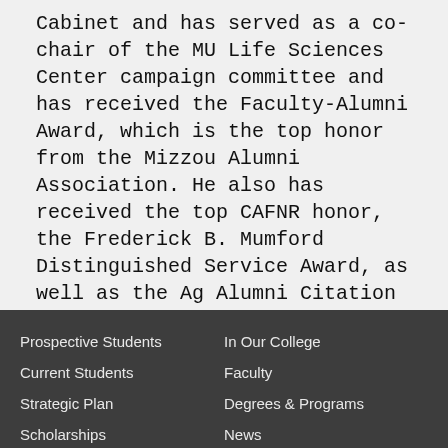Cabinet and has served as a co-chair of the MU Life Sciences Center campaign committee and has received the Faculty-Alumni Award, which is the top honor from the Mizzou Alumni Association. He also has received the top CAFNR honor, the Frederick B. Mumford Distinguished Service Award, as well as the Ag Alumni Citation of Merit Award. Miller served as co-chair for the For All We Call Mizzou campaign steering committee, helping CAFNR raise $60 million as a part of the university-wide $1 billion campaign.
Prospective Students
In Our College
Current Students
Faculty
Strategic Plan
Degrees & Programs
Scholarships
News